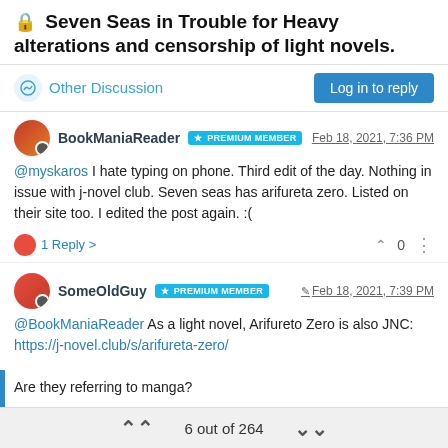🔒 Seven Seas in Trouble for Heavy alterations and censorship of light novels.
Other Discussion
BookManiaReader PREMIUM MEMBER Feb 18, 2021, 7:36 PM
@myskaros I hate typing on phone. Third edit of the day. Nothing in issue with j-novel club. Seven seas has arifureta zero. Listed on their site too. I edited the post again. :(
1 Reply > ^ 0
SomeOldGuy PREMIUM MEMBER Feb 18, 2021, 7:39 PM
@BookManiaReader As a light novel, Arifureto Zero is also JNC: https://j-novel.club/s/arifureta-zero/

Are they referring to manga?

Also, the word you're looking for is "alteration". Altercation is a
6 out of 264